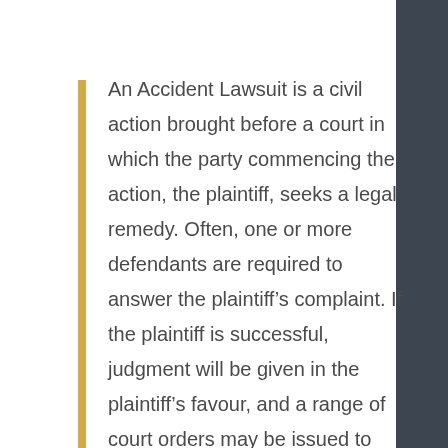An Accident Lawsuit is a civil action brought before a court in which the party commencing the action, the plaintiff, seeks a legal remedy. Often, one or more defendants are required to answer the plaintiff's complaint. If the plaintiff is successful, judgment will be given in the plaintiff's favour, and a range of court orders may be issued to impose a